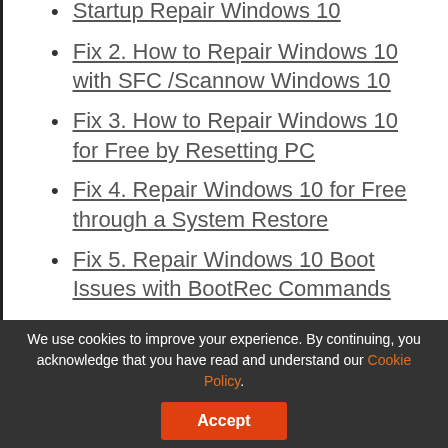Startup Repair Windows 10
Fix 2. How to Repair Windows 10 with SFC /Scannow Windows 10
Fix 3. How to Repair Windows 10 for Free by Resetting PC
Fix 4. Repair Windows 10 for Free through a System Restore
Fix 5. Repair Windows 10 Boot Issues with BootRec Commands
Fix 6. Reinstall Windows 10 to Repair Windows 10 for Free
How to Repair Windows 10 for Free without Losing Data
We use cookies to improve your experience. By continuing, you acknowledge that you have read and understand our Cookie Policy.